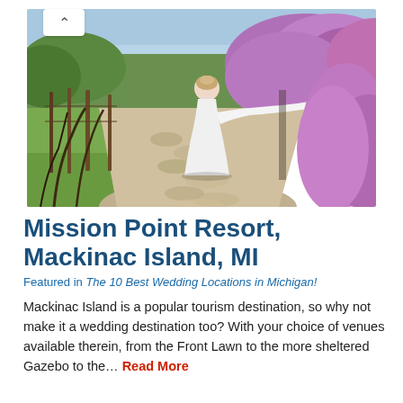[Figure (photo): A bride in a white wedding gown walking along a cobblestone path flanked by green grapevines on the left and lush purple/pink flowering bushes on the right, with a blue sky and greenery in the background.]
Mission Point Resort, Mackinac Island, MI
Featured in The 10 Best Wedding Locations in Michigan!
Mackinac Island is a popular tourism destination, so why not make it a wedding destination too? With your choice of venues available therein, from the Front Lawn to the more sheltered Gazebo to the... Read More